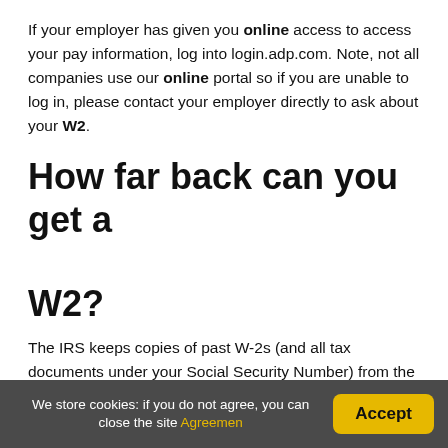If your employer has given you online access to access your pay information, log into login.adp.com. Note, not all companies use our online portal so if you are unable to log in, please contact your employer directly to ask about your W2.
How far back can you get a W2?
The IRS keeps copies of past W-2s (and all tax documents under your Social Security Number) from the last 7-10 years. The W-2s are not available from the IRS until one year after they were filed. You will need to fill out Form 4506 (be sure to write clearly and sign). The service fee is $50 for each...
We store cookies: if you do not agree, you can close the site Agreemen